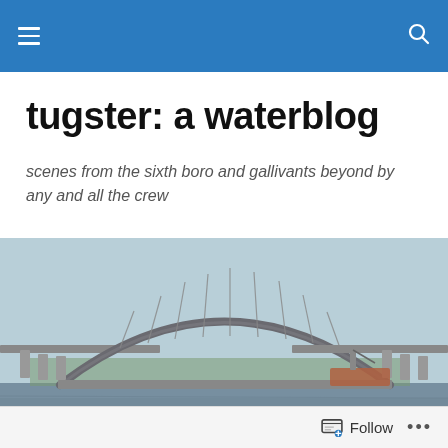tugster: a waterblog — navigation header
tugster: a waterblog
scenes from the sixth boro and gallivants beyond by any and all the crew
[Figure (photo): Panoramic photo of a large steel arch bridge (Bayonne Bridge) spanning a waterway, with a blue-grey sky and water in the foreground and green trees in the background.]
TAGGED WITH NEW JERSEY
Down and Up the Black Rock Canal